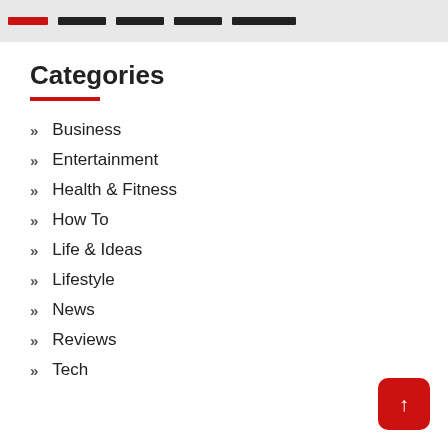Navigation bar with category links
Categories
Business
Entertainment
Health & Fitness
How To
Life & Ideas
Lifestyle
News
Reviews
Tech